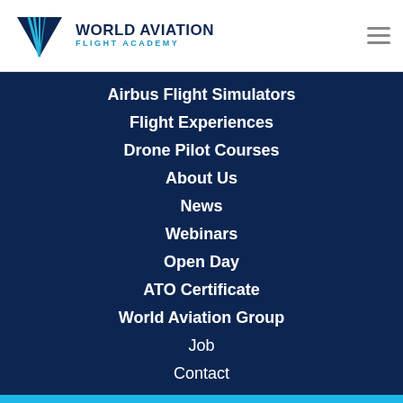[Figure (logo): World Aviation Flight Academy logo with stylized W mark in blue and teal, and text 'WORLD AVIATION FLIGHT ACADEMY']
Airbus Flight Simulators
Flight Experiences
Drone Pilot Courses
About Us
News
Webinars
Open Day
ATO Certificate
World Aviation Group
Job
Contact
© Copyright 2022 World Aviation - All Rights Reserved.
Write to Us!